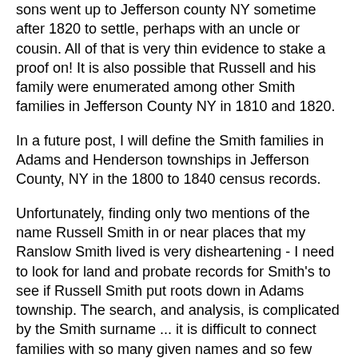sons went up to Jefferson county NY sometime after 1820 to settle, perhaps with an uncle or cousin. All of that is very thin evidence to stake a proof on! It is also possible that Russell and his family were enumerated among other Smith families in Jefferson County NY in 1810 and 1820.
In a future post, I will define the Smith families in Adams and Henderson townships in Jefferson County, NY in the 1800 to 1840 census records.
Unfortunately, finding only two mentions of the name Russell Smith in or near places that my Ranslow Smith lived is very disheartening - I need to look for land and probate records for Smith's to see if Russell Smith put roots down in Adams township. The search, and analysis, is complicated by the Smith surname ... it is difficult to connect families with so many given names and so few pieces of information about each.
I realize that this post may be very boring - and probably skipped - by many readers, but writing this down makes it easier for me to figure out what I've done and what I need to